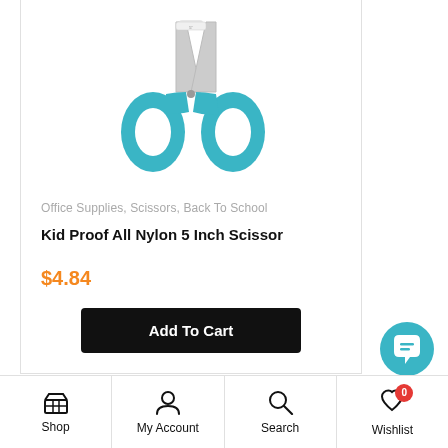[Figure (photo): Blue-handled kid-proof all nylon 5 inch scissors on white background]
Office Supplies, Scissors, Back To School
Kid Proof All Nylon 5 Inch Scissor
$4.84
Add To Cart
[Figure (other): Blue circular chat/support button with speech bubble icon]
Shop  My Account  Search  Wishlist